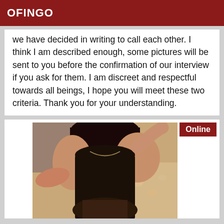OFINGO
we have decided in writing to call each other. I think I am described enough, some pictures will be sent to you before the confirmation of our interview if you ask for them. I am discreet and respectful towards all beings, I hope you will meet these two criteria. Thank you for your understanding.
[Figure (photo): Woman posing indoors wearing black clothing, with an 'Online' badge overlay in the top right corner]